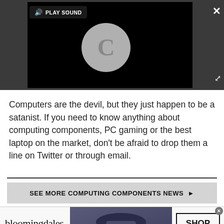[Figure (screenshot): Video player with dark background showing a loading spinner (grey circle with C), and a 'PLAY SOUND' button in the top left of the player area. A close X button is in the top right corner, and expand arrows in the lower right corner of the dark bar.]
Computers are the devil, but they just happen to be a satanist. If you need to know anything about computing components, PC gaming or the best laptop on the market, don't be afraid to drop them a line on Twitter or through email.
SEE MORE COMPUTING COMPONENTS NEWS ▶
[Figure (screenshot): Bloomingdales advertisement banner. Shows bloomingdales logo with 'View Today's Top Deals!' text on left, a woman in a navy wide-brim hat in the center, and a 'SHOP NOW >' button on the right.]